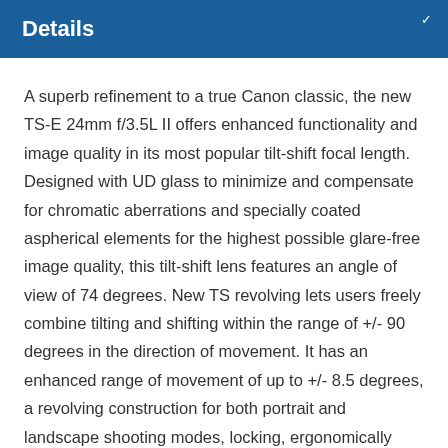Details
A superb refinement to a true Canon classic, the new TS-E 24mm f/3.5L II offers enhanced functionality and image quality in its most popular tilt-shift focal length. Designed with UD glass to minimize and compensate for chromatic aberrations and specially coated aspherical elements for the highest possible glare-free image quality, this tilt-shift lens features an angle of view of 74 degrees. New TS revolving lets users freely combine tilting and shifting within the range of +/- 90 degrees in the direction of movement. It has an enhanced range of movement of up to +/- 8.5 degrees, a revolving construction for both portrait and landscape shooting modes, locking, ergonomically designed and easily operated tilt and shift knobs, uses a circular aperture for